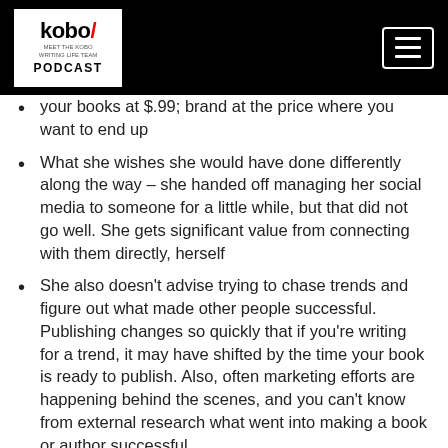kobo PODCAST
your books at $.99; brand at the price where you want to end up
What she wishes she would have done differently along the way – she handed off managing her social media to someone for a little while, but that did not go well. She gets significant value from connecting with them directly, herself
She also doesn't advise trying to chase trends and figure out what made other people successful. Publishing changes so quickly that if you're writing for a trend, it may have shifted by the time your book is ready to publish. Also, often marketing efforts are happening behind the scenes, and you can't know from external research what went into making a book or author successful
“Every authorship is different…. You have to figure out your readership and how you fit with them”
It is absolutely essential to get your book edited – you are a representative of independently published authors and books. Don't rush to publish; if you can't afford a